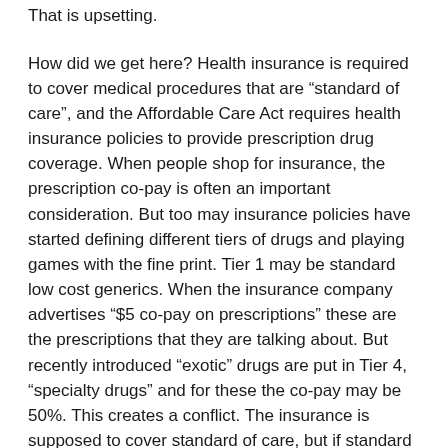That is upsetting.
How did we get here? Health insurance is required to cover medical procedures that are “standard of care”, and the Affordable Care Act requires health insurance policies to provide prescription drug coverage. When people shop for insurance, the prescription co-pay is often an important consideration. But too may insurance policies have started defining different tiers of drugs and playing games with the fine print. Tier 1 may be standard low cost generics. When the insurance company advertises “$5 co-pay on prescriptions” these are the prescriptions that they are talking about. But recently introduced “exotic” drugs are put in Tier 4, “specialty drugs” and for these the co-pay may be 50%. This creates a conflict. The insurance is supposed to cover standard of care, but if standard of care involves a very expensive drug the insurance is suddenly sticking the patient with half the cost, a cost that may be unaffordable for many patients.
So now we ask, is the insurance...